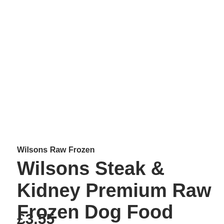Wilsons Raw Frozen
Wilsons Steak & Kidney Premium Raw Frozen Dog Food
£3.55